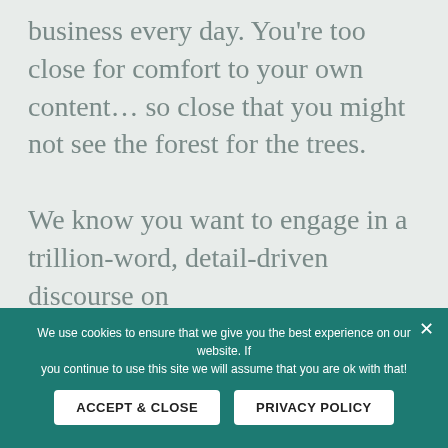business every day. You're too close for comfort to your own content… so close that you might not see the forest for the trees.

We know you want to engage in a trillion-word, detail-driven discourse on EVERY.SINGLE.THING. about your brand because your biz is so dang amazing. (And, yes, it is!) But, this is a case of oversharing.
We use cookies to ensure that we give you the best experience on our website. If you continue to use this site we will assume that you are ok with that!